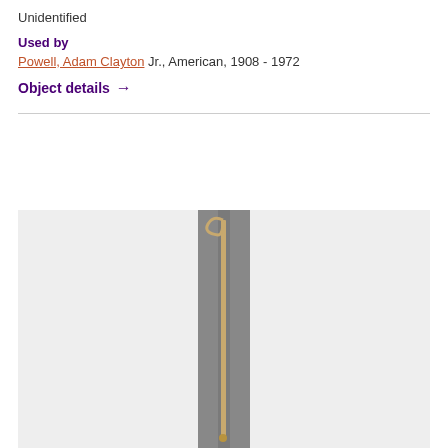Unidentified
Used by
Powell, Adam Clayton Jr., American, 1908 - 1972
Object details →
[Figure (photo): A tall thin cane or walking stick photographed vertically against a light gray background with a darker gray central strip. The stick appears to be made of wood or metal with a curved top handle.]